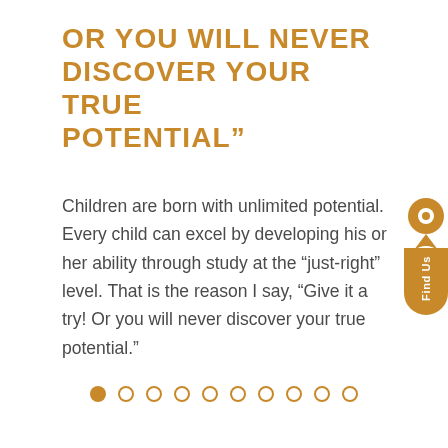OR YOU WILL NEVER DISCOVER YOUR TRUE POTENTIAL”
Children are born with unlimited potential. Every child can excel by developing his or her ability through study at the “just-right” level. That is the reason I say, “Give it a try! Or you will never discover your true potential.”
[Figure (infographic): Orange location pin icon with 'Find Us' label, positioned on the right edge of the page as a navigation button]
[Figure (infographic): A row of 10 pagination dots. The first dot is filled orange, the remaining 9 are outlined orange circles.]